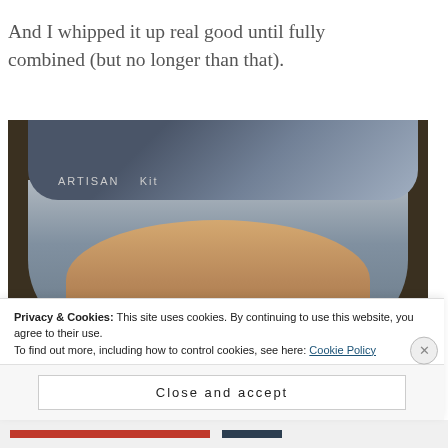And I whipped it up real good until fully combined (but no longer than that).
[Figure (photo): KitchenAid Artisan stand mixer head lowered into a metal mixing bowl containing cookie dough batter, photographed from above at an angle. The mixer is pale yellow/cream color. The bowl shows mixed brown dough.]
Privacy & Cookies: This site uses cookies. By continuing to use this website, you agree to their use.
To find out more, including how to control cookies, see here: Cookie Policy
Close and accept